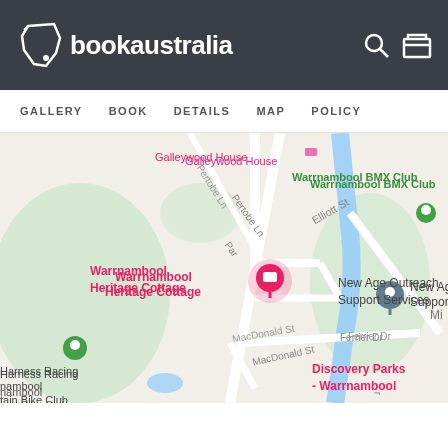bookaustralia — header with search and cart icons
GALLERY  BOOK  DETAILS  MAP  POLICY
[Figure (map): Google Maps view showing Warrnambool Heritage Cottage area with streets Elliott St, MacDonald St, Ferrier Dr, Pertobe Ln, locations including Galleywood House, New Age Outreach Support Services, Warrnambool BMX Club, Harness Racing, Discovery Parks - Warrnambool, and a blue river/waterway.]
This website uses cookies. Close this message if you agree to our Cookie Policy